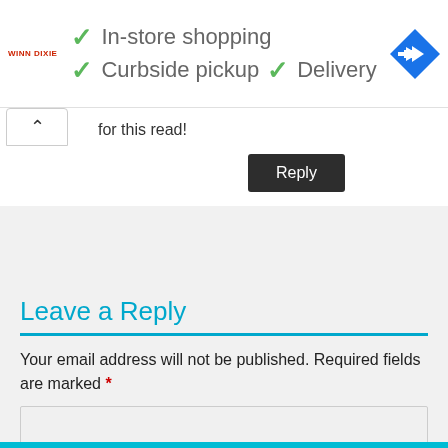[Figure (infographic): Advertisement banner for Winn Dixie showing checkmarks for In-store shopping, Curbside pickup, and Delivery with a blue navigation arrow icon]
for this read!
Reply
Leave a Reply
Your email address will not be published. Required fields are marked *